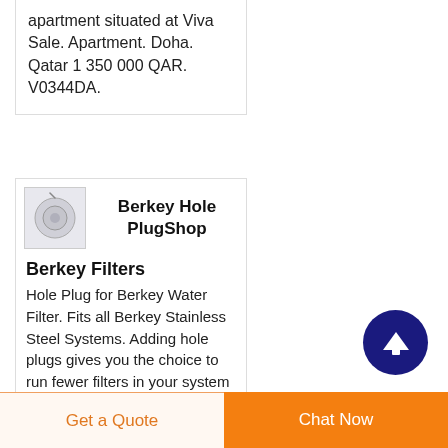apartment situated at Viva Sale. Apartment. Doha. Qatar 1 350 000 QAR. V0344DA.
[Figure (photo): Small thumbnail image of a Berkey hole plug product on light gray background]
Berkey Hole PlugShop
Berkey Filters
Hole Plug for Berkey Water Filter. Fits all Berkey Stainless Steel Systems. Adding hole plugs gives you the choice to run fewer filters in your system giving you the same quality water only a slower flow rate. WILL NOT FIT BERKEY LIGHT SYSTEMS. Powered
[Figure (illustration): Dark blue circular scroll-to-top button with white upward arrow]
Get a Quote
Chat Now